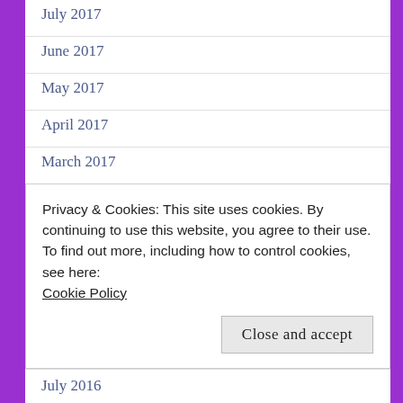July 2017
June 2017
May 2017
April 2017
March 2017
February 2017
January 2017
December 2016
November 2016
Privacy & Cookies: This site uses cookies. By continuing to use this website, you agree to their use.
To find out more, including how to control cookies, see here: Cookie Policy
July 2016